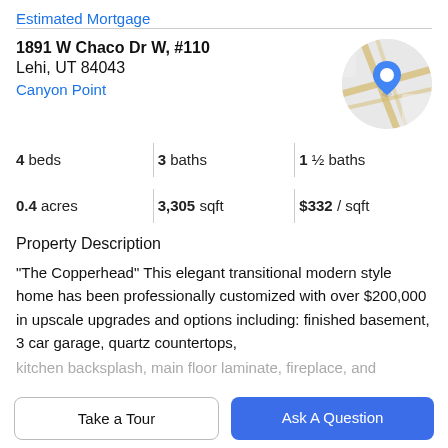Estimated Mortgage
1891 W Chaco Dr W, #110
Lehi, UT 84043
Canyon Point
[Figure (map): Circular map thumbnail with blue location pin marker]
4 beds | 3 baths | 1 ½ baths
0.4 acres | 3,305 sqft | $332 / sqft
Property Description
"The Copperhead" This elegant transitional modern style home has been professionally customized with over $200,000 in upscale upgrades and options including: finished basement, 3 car garage, quartz countertops,
kitchen backsplash, main floor laminate, fireplace, and
Take a Tour
Ask A Question